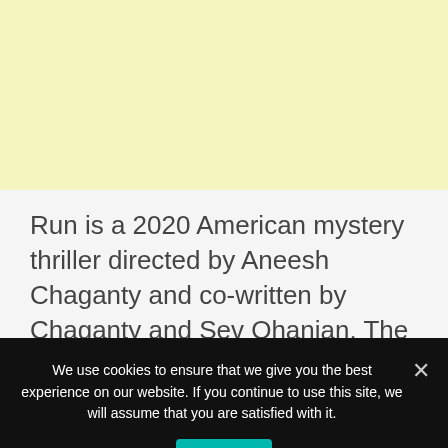[Figure (other): Yellow/cream colored banner area at top of page, likely an advertisement placeholder]
Run is a 2020 American mystery thriller directed by Aneesh Chaganty and co-written by Chaganty and Sev Ohanian. The movie starred Sarah Paulson and
We use cookies to ensure that we give you the best experience on our website. If you continue to use this site, we will assume that you are satisfied with it.